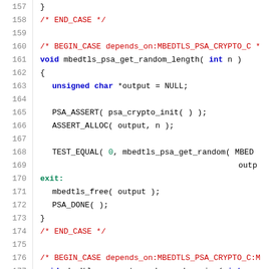Code listing lines 157-177: C source code for mbedtls PSA crypto functions
[Figure (screenshot): Source code listing showing lines 157-177 of a C file implementing mbedtls PSA crypto random functions]